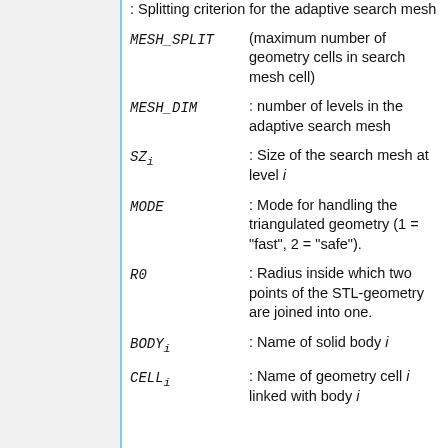: Splitting criterion for the adaptive search mesh
MESH_SPLIT (maximum number of geometry cells in search mesh cell)
MESH_DIM : number of levels in the adaptive search mesh
SZ_i : Size of the search mesh at level i
MODE : Mode for handling the triangulated geometry (1 = "fast", 2 = "safe").
R0 : Radius inside which two points of the STL-geometry are joined into one.
BODY_i : Name of solid body i
CELL_i : Name of geometry cell i linked with body i